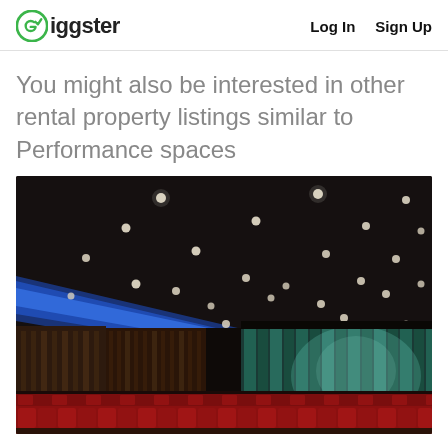Giggster   Log In   Sign Up
You might also be interested in other rental property listings similar to Performance spaces
[Figure (photo): Interior of a large performance theater with red seating, a stage with teal curtains, dark ceiling with recessed spotlights, and blue accent lighting along the left wall.]